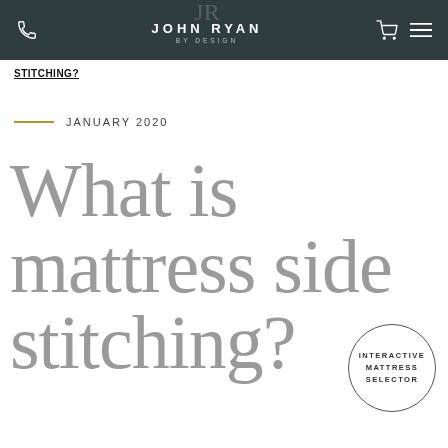John Ryan By Design
STITCHING?
JANUARY 2020
What is mattress side stitching?
[Figure (other): Interactive Mattress Selector circular badge]